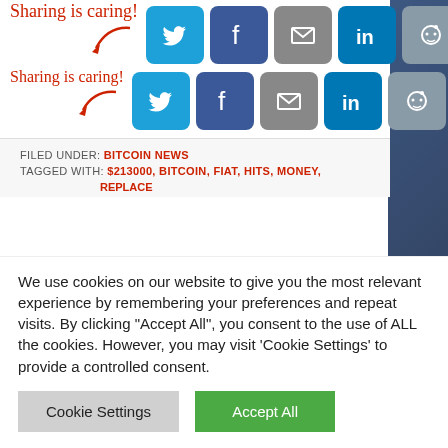[Figure (screenshot): Social share buttons row 1: Twitter, Facebook, Email, LinkedIn, Reddit, Share — with 'Sharing is caring!' text and red arrow]
[Figure (screenshot): Social share buttons row 2: Twitter, Facebook, Email, LinkedIn, Reddit, Share — with 'Sharing is caring!' text and red arrow]
FILED UNDER: BITCOIN NEWS
TAGGED WITH: $213000, BITCOIN, FIAT, HITS, MONEY,
We use cookies on our website to give you the most relevant experience by remembering your preferences and repeat visits. By clicking "Accept All", you consent to the use of ALL the cookies. However, you may visit 'Cookie Settings' to provide a controlled consent.
Cookie Settings | Accept All